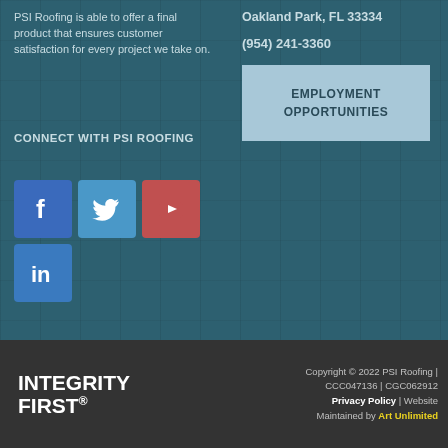PSI Roofing is able to offer a final product that ensures customer satisfaction for every project we take on.
Oakland Park, FL 33334
(954) 241-3360
EMPLOYMENT OPPORTUNITIES
CONNECT WITH PSI ROOFING
[Figure (illustration): Social media icons: Facebook (blue), Twitter (light blue), YouTube (red), LinkedIn (blue)]
[Figure (logo): INTEGRITY FIRST registered trademark logo in white on dark background]
Copyright © 2022 PSI Roofing | CCC047136 | CGC062912 Privacy Policy | Website Maintained by Art Unlimited